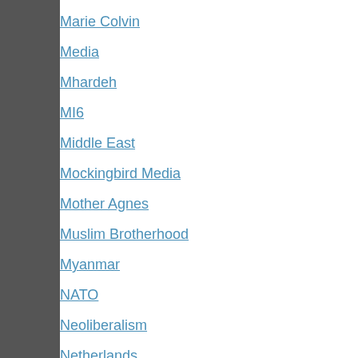Marie Colvin
Media
Mhardeh
MI6
Middle East
Mockingbird Media
Mother Agnes
Muslim Brotherhood
Myanmar
NATO
Neoliberalism
Netherlands
New 9/11
NGO Complex
Nigeria
Noam Chomsky